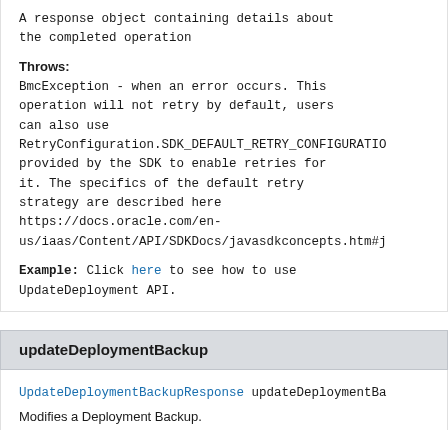A response object containing details about the completed operation
Throws:
BmcException - when an error occurs. This operation will not retry by default, users can also use RetryConfiguration.SDK_DEFAULT_RETRY_CONFIGURATION provided by the SDK to enable retries for it. The specifics of the default retry strategy are described here https://docs.oracle.com/en-us/iaas/Content/API/SDKDocs/javasdkconcepts.htm#j
Example: Click here to see how to use UpdateDeployment API.
updateDeploymentBackup
UpdateDeploymentBackupResponse updateDeploymentBa
Modifies a Deployment Backup.